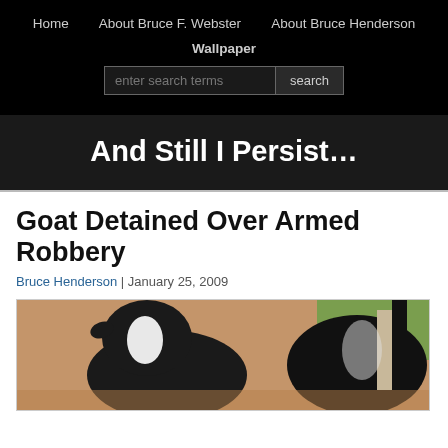Home | About Bruce F. Webster | About Bruce Henderson | Wallpaper
And Still I Persist…
Goat Detained Over Armed Robbery
Bruce Henderson | January 25, 2009
[Figure (photo): Close-up photo of two black and white goats outdoors on dirt ground with grass in the background]